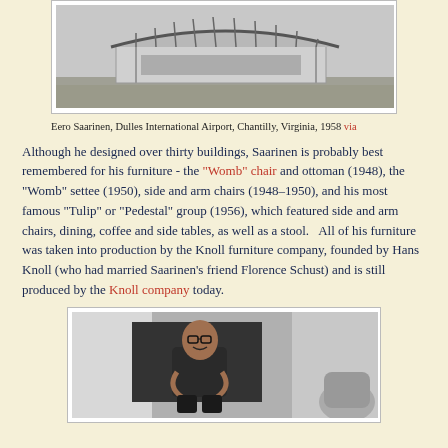[Figure (photo): Black and white photograph of Eero Saarinen's Dulles International Airport, Chantilly, Virginia, showing the distinctive roof structure]
Eero Saarinen, Dulles International Airport, Chantilly, Virginia, 1958 via
Although he designed over thirty buildings, Saarinen is probably best remembered for his furniture - the "Womb" chair and ottoman (1948), the "Womb" settee (1950), side and arm chairs (1948–1950), and his most famous "Tulip" or "Pedestal" group (1956), which featured side and arm chairs, dining, coffee and side tables, as well as a stool.   All of his furniture was taken into production by the Knoll furniture company, founded by Hans Knoll (who had married Saarinen's friend Florence Schust) and is still produced by the Knoll company today.
[Figure (photo): Black and white portrait photograph of Eero Saarinen seated, smiling, in an interior setting]